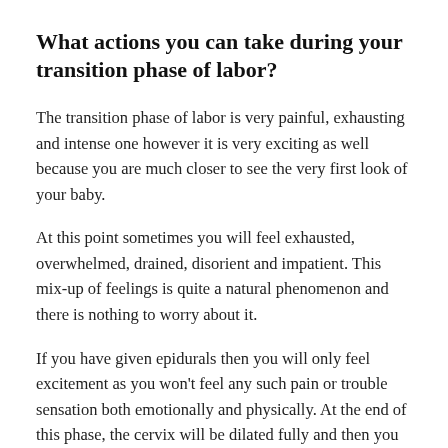What actions you can take during your transition phase of labor?
The transition phase of labor is very painful, exhausting and intense one however it is very exciting as well because you are much closer to see the very first look of your baby.
At this point sometimes you will feel exhausted, overwhelmed, drained, disorient and impatient. This mix-up of feelings is quite a natural phenomenon and there is nothing to worry about it.
If you have given epidurals then you will only feel excitement as you won't feel any such pain or trouble sensation both emotionally and physically. At the end of this phase, the cervix will be dilated fully and then you only require to push your